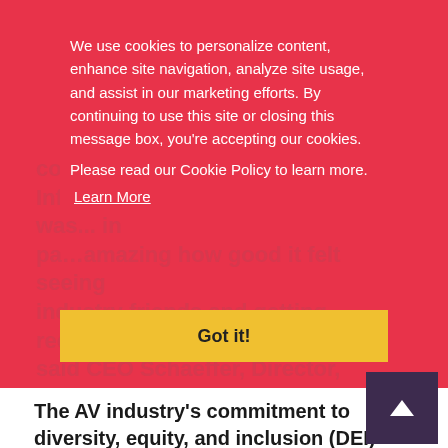We use cookies to personalize content, enhance site navigation, analyze site usage, and assist in our marketing efforts. By continuing to use this site or closing this message box, you're accepting our cookies.
Please read our Cookie Policy to learn more.
Learn More
community engagement. "This InfoComm was... amazing how good it felt seeing industry friends and getting reconnected," said CEO Schaeffer, Director, Alliance & Ecosystem, QSC
Got it!
The AV industry's commitment to diversity, equity, and inclusion (DEI) was seen throughout the show. The annual AVIXA Women's Council breakfast and Diversity